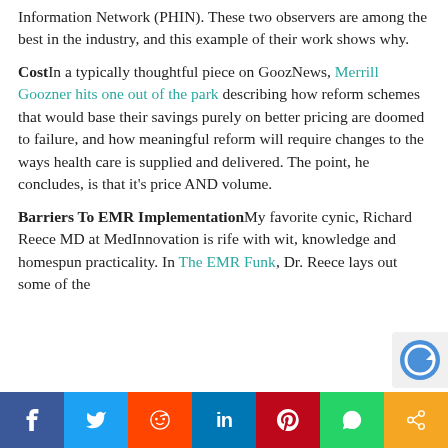Information Network (PHIN). These two observers are among the best in the industry, and this example of their work shows why.
CostIn a typically thoughtful piece on GoozNews, Merrill Goozner hits one out of the park describing how reform schemes that would base their savings purely on better pricing are doomed to failure, and how meaningful reform will require changes to the ways health care is supplied and delivered. The point, he concludes, is that it's price AND volume.
Barriers To EMR ImplementationMy favorite cynic, Richard Reece MD at MedInnovation is rife with wit, knowledge and homespun practicality. In The EMR Funk, Dr. Reece lays out some of the